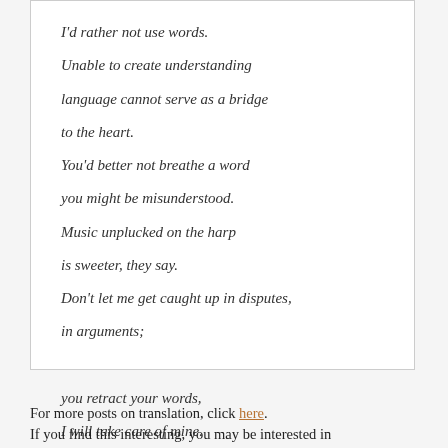I'd rather not use words.

Unable to create understanding
language cannot serve as a bridge
to the heart.

You'd better not breathe a word
you might be misunderstood.

Music unplucked on the harp
is sweeter, they say.

Don't let me get caught up in disputes,
in arguments;

you retract your words,
I will take care of mine.

Let's live like we were strangers.
For more posts on translation, click here.
If you find this interesting, you may be interested in